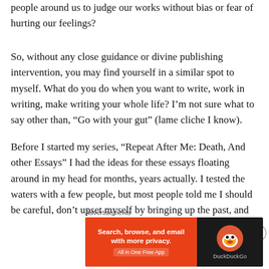people around us to judge our works without bias or fear of hurting our feelings?
So, without any close guidance or divine publishing intervention, you may find yourself in a similar spot to myself. What do you do when you want to write, work in writing, make writing your whole life? I’m not sure what to say other than, “Go with your gut” (lame cliche I know).
Before I started my series, “Repeat After Me: Death, And other Essays” I had the ideas for these essays floating around in my head for months, years actually. I tested the waters with a few people, but most people told me I should be careful, don’t upset myself by bringing up the past, and
Advertisements
[Figure (other): DuckDuckGo advertisement banner: orange left panel with text 'Search, browse, and email with more privacy. All in One Free App' and dark right panel with DuckDuckGo duck logo and brand name.]